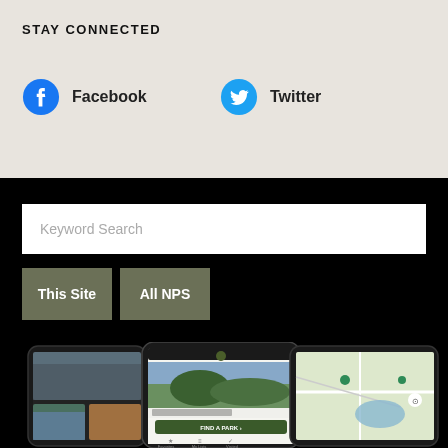STAY CONNECTED
Facebook
Twitter
Keyword Search
This Site
All NPS
[Figure (screenshot): Three smartphone screens showing the NPS mobile app: left phone shows park images, center phone shows Shenandoah National Park with a Find a Park button, and right phone shows a map view]